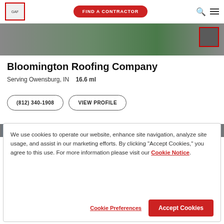GAF | FIND A CONTRACTOR
[Figure (photo): Aerial/overhead photo of a rooftop and driveway surrounded by green lawn, with a small red-bordered thumbnail in the upper right.]
Bloomington Roofing Company
Serving Owensburg, IN   16.6 ml
(812) 340-1908   VIEW PROFILE
We use cookies to operate our website, enhance site navigation, analyze site usage, and assist in our marketing efforts. By clicking "Accept Cookies," you agree to this use. For more information please visit our Cookie Notice.
Cookie Preferences   Accept Cookies